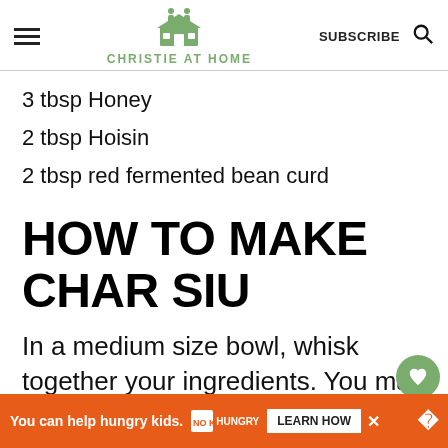CHRISTIE AT HOME
3 tbsp Honey
2 tbsp Hoisin
2 tbsp red fermented bean curd
HOW TO MAKE CHAR SIU
In a medium size bowl, whisk together your ingredients. You may
You can help hungry kids.  NOKID HUNGRY  LEARN HOW